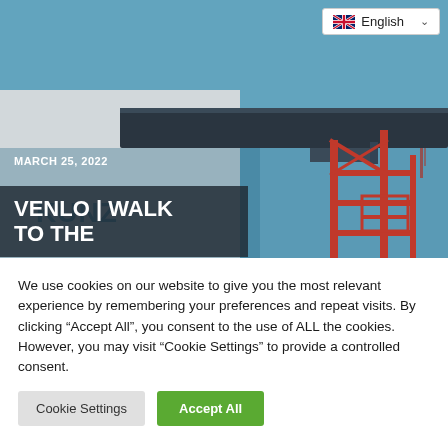[Figure (screenshot): Language selector dropdown showing UK flag and 'English' with a chevron/dropdown arrow, on a white background with border]
[Figure (photo): Industrial construction/engineering photo showing red metal scaffolding structure, a large dark steel beam/conveyor, and a white building with a logo, against a blue sky background. Overlaid with date 'MARCH 25, 2022' and partial title 'VENLO | WALK TO THE' on dark semi-transparent box.]
MARCH 25, 2022
VENLO | WALK TO THE
We use cookies on our website to give you the most relevant experience by remembering your preferences and repeat visits. By clicking “Accept All”, you consent to the use of ALL the cookies. However, you may visit “Cookie Settings” to provide a controlled consent.
Cookie Settings
Accept All